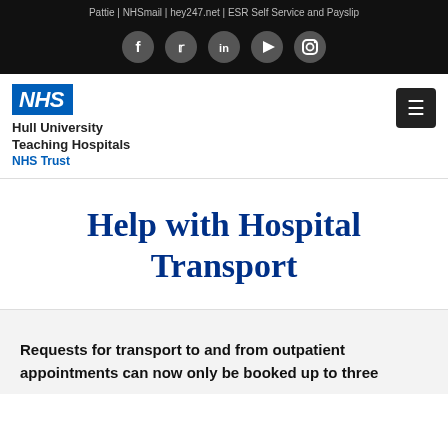Pattie | NHSmail | hey247.net | ESR Self Service and Payslip
[Figure (infographic): Social media icons: Facebook, Twitter, LinkedIn, YouTube, Instagram — white icons in dark circular buttons on black background]
[Figure (logo): NHS logo (blue box with white italic NHS text) with Hull University Teaching Hospitals NHS Trust name and hamburger menu button]
Help with Hospital Transport
Requests for transport to and from outpatient appointments can now only be booked up to three